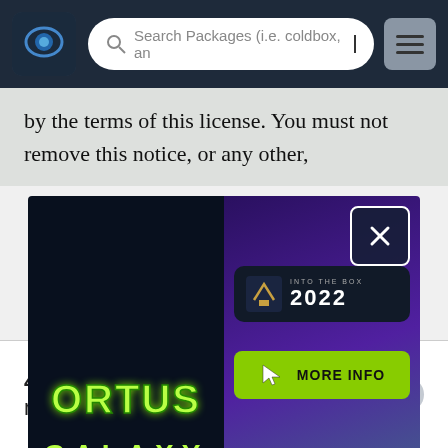Search Packages (i.e. coldbox, an
by the terms of this license. You must not remove this notice, or any other,
[Figure (screenshot): Popup advertisement showing two panels: left panel with 'ORTUS GALAXY WEB DEVELOPMENT CONFERENCE Houston, Texas September 6-8, 2022' on dark background with neon green logo; right panel with purple/teal gaming-style graphic showing 'INTO THE BOX 2022' logo and 'MORE INFO' green button. An X close button is in the top right corner.]
Published
4.3.0 is the latest of 7 release(s)
PUBLISHED